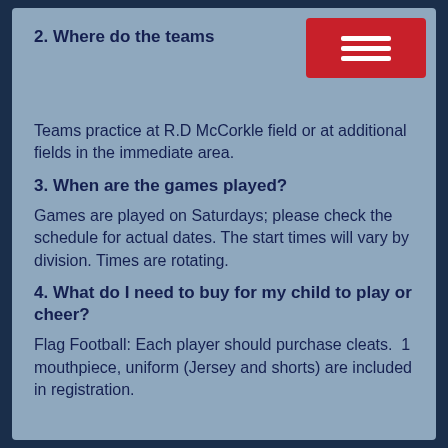2. Where do the teams
[Figure (other): Red hamburger menu button with three white horizontal lines]
Teams practice at R.D McCorkle field or at additional fields in the immediate area.
3. When are the games played?
Games are played on Saturdays; please check the schedule for actual dates. The start times will vary by division. Times are rotating.
4. What do I need to buy for my child to play or cheer?
Flag Football: Each player should purchase cleats.  1 mouthpiece, uniform (Jersey and shorts) are included in registration.